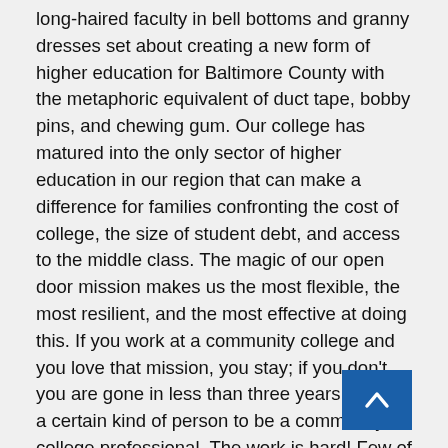long-haired faculty in bell bottoms and granny dresses set about creating a new form of higher education for Baltimore County with the metaphoric equivalent of duct tape, bobby pins, and chewing gum.  Our college has matured into the only sector of higher education in our region that can make a difference for families confronting the cost of college, the size of student debt, and access to the middle class.  The magic of our open door mission makes us the most flexible, the most resilient, and the most effective at doing this.  If you work at a community college and you love that mission, you stay; if you don't, you are gone in less than three years.  It takes a certain kind of person to be a community college professional.  The work is hard!  Few of us end up driving Lamborghinis; but the rewards are great.  It is that innate satisfaction that keeps community college faculty and staff coming back to work day after day, year after year.
So with great pride on that evening we honored those who served the college and its students.  Each of these dedicated